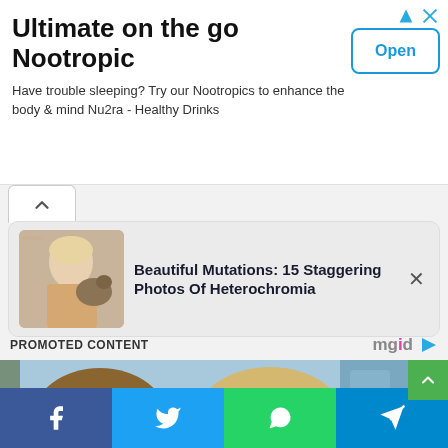[Figure (screenshot): Advertisement banner for 'Ultimate on the go Nootropic' with title, body text, and Open button]
Ultimate on the go Nootropic
Have trouble sleeping? Try our Nootropics to enhance the body & mind Nu2ra - Healthy Drinks
[Figure (screenshot): Promoted content card showing 'Beautiful Mutations: 15 Staggering Photos Of Heterochromia' with thumbnail of woman and dog]
PROMOTED CONTENT
[Figure (photo): Photo of a man and woman smiling outdoors, cropped at head/upper body level with sky background]
[Figure (screenshot): Social sharing bar with Facebook, Twitter, WhatsApp, and Telegram buttons]